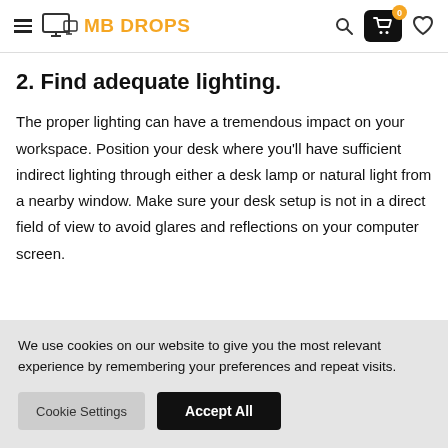MB DROPS
2. Find adequate lighting.
The proper lighting can have a tremendous impact on your workspace. Position your desk where you'll have sufficient indirect lighting through either a desk lamp or natural light from a nearby window. Make sure your desk setup is not in a direct field of view to avoid glares and reflections on your computer screen.
We use cookies on our website to give you the most relevant experience by remembering your preferences and repeat visits.